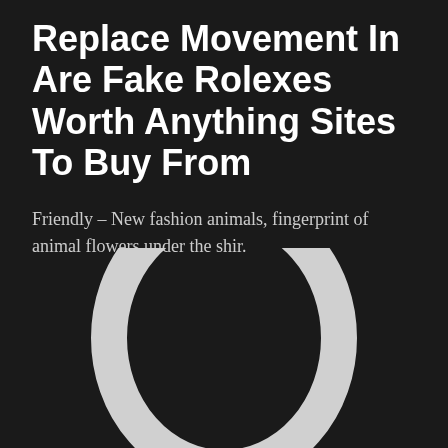Replace Movement In Are Fake Rolexes Worth Anything Sites To Buy From
Friendly – New fashion animals, fingerprint of animal flowers under the shir.
[Figure (logo): Large Omega logo symbol (stylized capital Omega letter) in light gray/white on dark background, partially cropped at bottom]